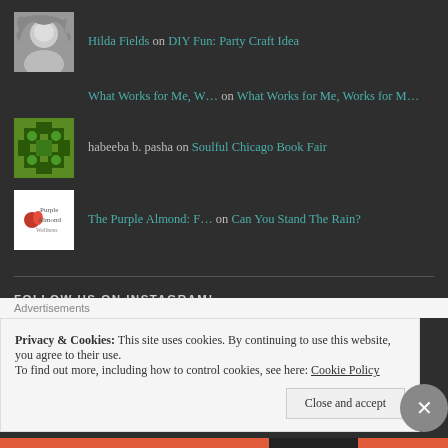Hilda Fields on DIY Fun: Party Craft Idea
What Works for Me, W... on What Works for Me, Works for M...
habeeba b. pasha on Soulful Chicago Book Fair
The Purple Almond: F... on Can You Stand The Rain?
FOLLOW US ON INSTAGRAM!
Advertisements
Privacy & Cookies: This site uses cookies. By continuing to use this website, you agree to their use.
To find out more, including how to control cookies, see here: Cookie Policy
Close and accept